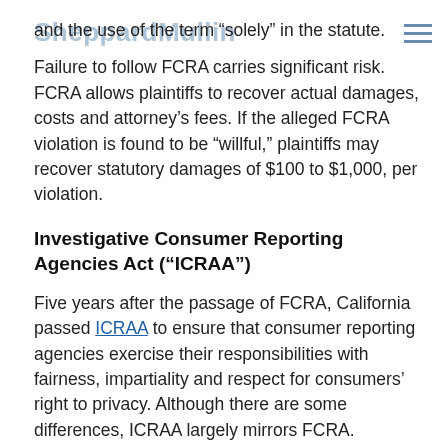SheppardMullin
and the use of the term “solely” in the statute.
Failure to follow FCRA carries significant risk. FCRA allows plaintiffs to recover actual damages, costs and attorney’s fees. If the alleged FCRA violation is found to be “willful,” plaintiffs may recover statutory damages of $100 to $1,000, per violation.
Investigative Consumer Reporting Agencies Act (“ICRAA”)
Five years after the passage of FCRA, California passed ICRAA to ensure that consumer reporting agencies exercise their responsibilities with fairness, impartiality and respect for consumers’ right to privacy. Although there are some differences, ICRAA largely mirrors FCRA.